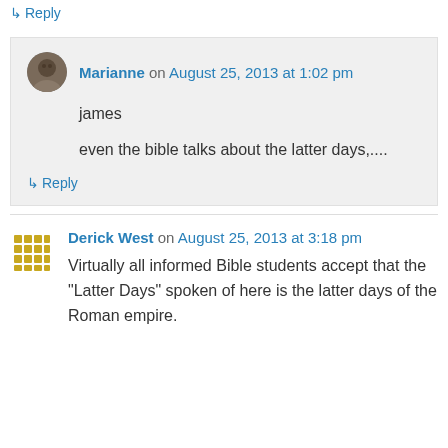↳ Reply
Marianne on August 25, 2013 at 1:02 pm
james

even the bible talks about the latter days,....
↳ Reply
Derick West on August 25, 2013 at 3:18 pm
Virtually all informed Bible students accept that the "Latter Days" spoken of here is the latter days of the Roman empire.